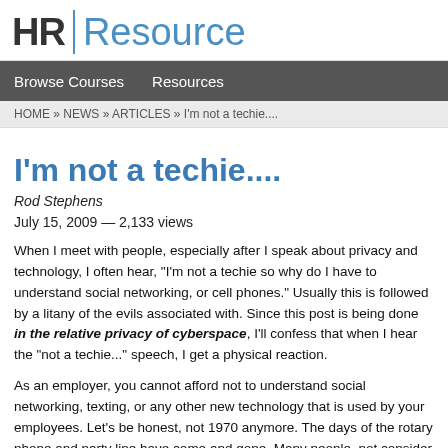HR Resource
Browse Courses   Resources
HOME » NEWS » ARTICLES » I'm not a techie....
I'm not a techie....
Rod Stephens
July 15, 2009 — 2,133 views
When I meet with people, especially after I speak about privacy and technology, I often hear, "I'm not a techie so why do I have to understand social networking, or cell phones." Usually this is followed by a litany of the evils associated with. Since this post is being done in the relative privacy of cyberspace, I'll confess that when I hear "not a techie..." speech, I get a physical reaction.
As an employer, you cannot afford not to understand social networking, texting, or any other new technology that is used by your employees. Let's be honest, it's not 1970 anymore. The days of the rotary phone and party line have come and gone. Many people, not consider themselves to be techies, are familiar with all of the latest technologies. Understanding how these technologies work will help you understand how to protect yourself from employees that abuse these technologies and allow you to better understand how they work. For example, I know that if I need to reach two of my employees, a returned call in a reasonable amount of time but a text will generate an im